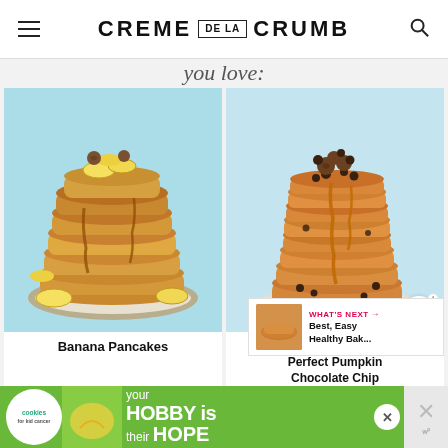CREME DE LA CRUMB
you love:
[Figure (photo): Stack of banana pancakes topped with banana slices, walnuts, and syrup in a bowl on a light blue background]
Banana Pancakes
[Figure (photo): Stack of tall pumpkin chocolate chip pancakes topped with chocolate chips, walnuts, and caramel syrup on a plate]
Perfect Pumpkin Chocolate Chip Pancakes
WHAT'S NEXT → Best, Easy Healthy Bak...
[Figure (photo): Advertisement banner: cookies for kid cancer - your HOBBY is their HOPE]